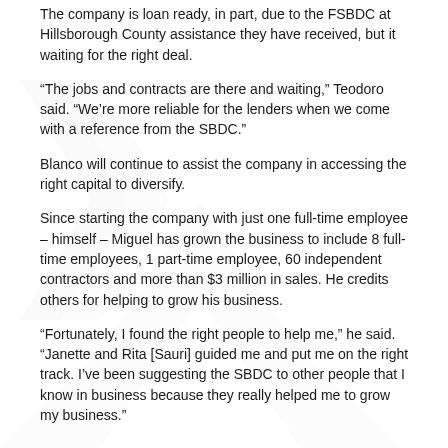The company is loan ready, in part, due to the FSBDC at Hillsborough County assistance they have received, but it waiting for the right deal.
“The jobs and contracts are there and waiting,” Teodoro said. “We’re more reliable for the lenders when we come with a reference from the SBDC.”
Blanco will continue to assist the company in accessing the right capital to diversify.
Since starting the company with just one full-time employee – himself – Miguel has grown the business to include 8 full-time employees, 1 part-time employee, 60 independent contractors and more than $3 million in sales. He credits others for helping to grow his business.
“Fortunately, I found the right people to help me,” he said. “Janette and Rita [Sauri] guided me and put me on the right track. I’ve been suggesting the SBDC to other people that I know in business because they really helped me to grow my business.”